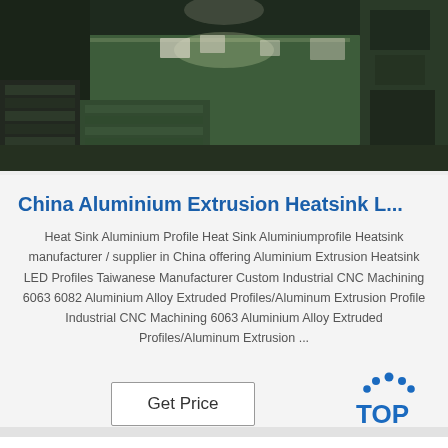[Figure (photo): Interior of a factory or warehouse facility showing a long table or production surface in the center, with stacked materials on the left side, overhead lighting, and industrial equipment in the background. Green-toned concrete floor visible.]
China Aluminium Extrusion Heatsink L...
Heat Sink Aluminium Profile Heat Sink Aluminiumprofile Heatsink manufacturer / supplier in China offering Aluminium Extrusion Heatsink LED Profiles Taiwanese Manufacturer Custom Industrial CNC Machining 6063 6082 Aluminium Alloy Extruded Profiles/Aluminum Extrusion Profile Industrial CNC Machining 6063 Aluminium Alloy Extruded Profiles/Aluminum Extrusion ...
[Figure (logo): TOP logo with blue dots arranged in an arc above the letters T, O, P in blue text, on a light gray background.]